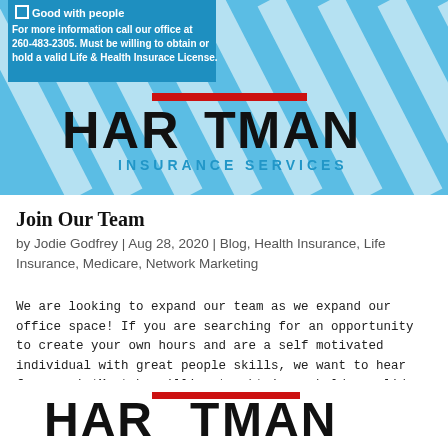[Figure (logo): Hartman Insurance Services banner with diagonal blue and white stripes, blue info box with checkbox 'Good with people' and contact info, and Hartman Insurance Services logo with red bar on T]
Join Our Team
by Jodie Godfrey | Aug 28, 2020 | Blog, Health Insurance, Life Insurance, Medicare, Network Marketing
We are looking to expand our team as we expand our office space! If you are searching for an opportunity to create your own hours and are a self motivated individual with great people skills, we want to hear from you! *Must be willing to obtain or hold a valid Life...
[Figure (logo): Hartman logo at bottom of page showing HARTMAN text with red bar over the T]